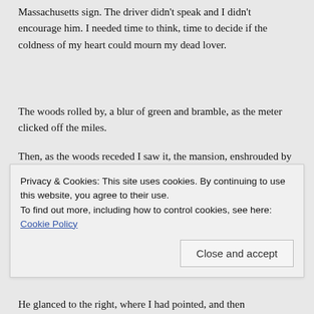Massachusetts sign. The driver didn't speak and I didn't encourage him. I needed time to think, time to decide if the coldness of my heart could mourn my dead lover.
The woods rolled by, a blur of green and bramble, as the meter clicked off the miles.
Then, as the woods receded I saw it, the mansion, enshrouded by an emerald fog, superimposed on a hilly
Privacy & Cookies: This site uses cookies. By continuing to use this website, you agree to their use.
To find out more, including how to control cookies, see here: Cookie Policy
He glanced to the right, where I had pointed, and then